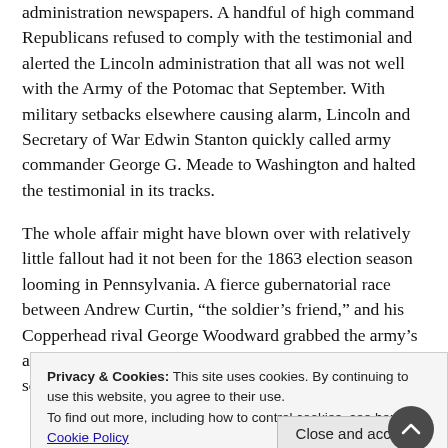administration newspapers. A handful of high command Republicans refused to comply with the testimonial and alerted the Lincoln administration that all was not well with the Army of the Potomac that September. With military setbacks elsewhere causing alarm, Lincoln and Secretary of War Edwin Stanton quickly called army commander George G. Meade to Washington and halted the testimonial in its tracks.
The whole affair might have blown over with relatively little fallout had it not been for the 1863 election season looming in Pennsylvania. A fierce gubernatorial race between Andrew Curtin, “the soldier’s friend,” and his Copperhead rival George Woodward grabbed the army’s attention. At the eleventh hour, perhaps seeking to solidify his position as a Democratic
Privacy & Cookies: This site uses cookies. By continuing to use this website, you agree to their use. To find out more, including how to control cookies, see here: Cookie Policy
Close and accept